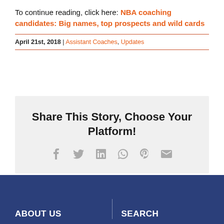To continue reading, click here: NBA coaching candidates: Big names, top prospects and wild cards
April 21st, 2018 | Assistant Coaches, Updates
Share This Story, Choose Your Platform!
[Figure (infographic): Social sharing icons: Facebook, Twitter, LinkedIn, WhatsApp, Pinterest, Email]
ABOUT US | SEARCH